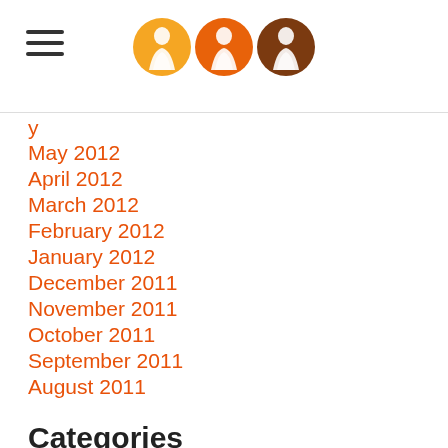[Logo with three bride circles and hamburger menu]
May 2012
April 2012
March 2012
February 2012
January 2012
December 2011
November 2011
October 2011
September 2011
August 2011
Categories
All
Activist
Adele Barclay
Alex Carey
Alex Leslie